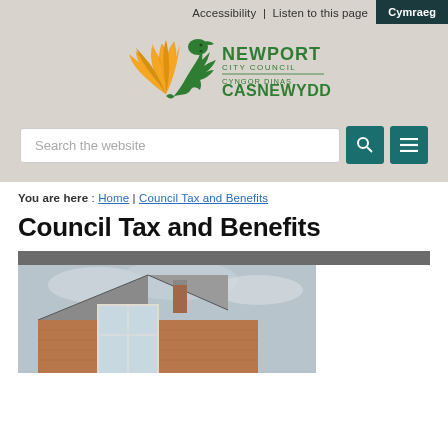Accessibility | Listen to this page  Cymraeg
[Figure (logo): Newport City Council / Cyngor Dinas Casnewydd logo with green dragon and yellow wing motif]
Search the website
You are here : Home | Council Tax and Benefits
Council Tax and Benefits
[Figure (photo): Photo of a modern brick house with large windows and grey tiled roof under a cloudy sky]